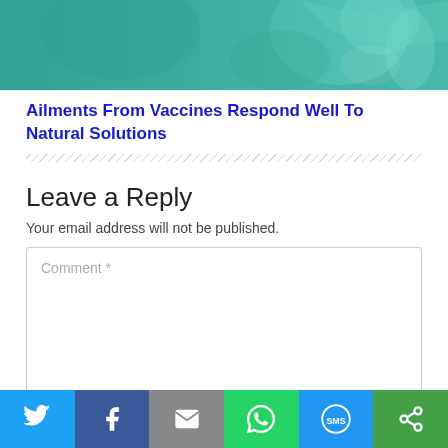[Figure (photo): A close-up photograph of a medical professional administering a vaccine injection, with a green and teal blurred background.]
Ailments From Vaccines Respond Well To Natural Solutions
Your email address will not be published.
Leave a Reply
[Figure (screenshot): Comment text input box with placeholder text 'Comment *']
[Figure (infographic): Social sharing bar with Twitter, Facebook, Email, WhatsApp, SMS, and More buttons]